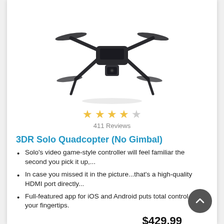[Figure (photo): A black 3DR Solo quadcopter drone with a camera gimbal mounted underneath, viewed from a front-angled perspective, on a white background.]
★★★★☆ 411 Reviews
3DR Solo Quadcopter (No Gimbal)
Solo's video game-style controller will feel familiar the second you pick it up,...
In case you missed it in the picture...that's a high-quality HDMI port directly...
Full-featured app for iOS and Android puts total control at your fingertips.
$429.99